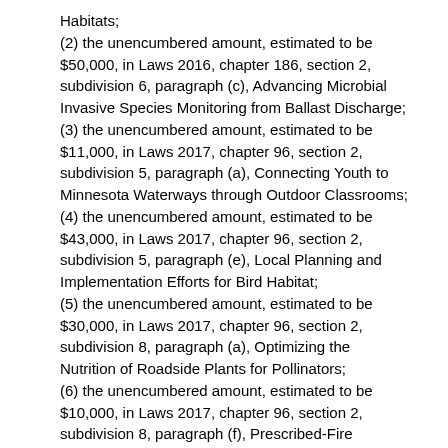Habitats;
(2) the unencumbered amount, estimated to be $50,000, in Laws 2016, chapter 186, section 2, subdivision 6, paragraph (c), Advancing Microbial Invasive Species Monitoring from Ballast Discharge;
(3) the unencumbered amount, estimated to be $11,000, in Laws 2017, chapter 96, section 2, subdivision 5, paragraph (a), Connecting Youth to Minnesota Waterways through Outdoor Classrooms;
(4) the unencumbered amount, estimated to be $43,000, in Laws 2017, chapter 96, section 2, subdivision 5, paragraph (e), Local Planning and Implementation Efforts for Bird Habitat;
(5) the unencumbered amount, estimated to be $30,000, in Laws 2017, chapter 96, section 2, subdivision 8, paragraph (a), Optimizing the Nutrition of Roadside Plants for Pollinators;
(6) the unencumbered amount, estimated to be $10,000, in Laws 2017, chapter 96, section 2, subdivision 8, paragraph (f), Prescribed-Fire Management for Roadside Prairies;
(7) the unencumbered amount, estimated to be $20,000, in Laws 2018, chapter 214, section 2, subdivision...